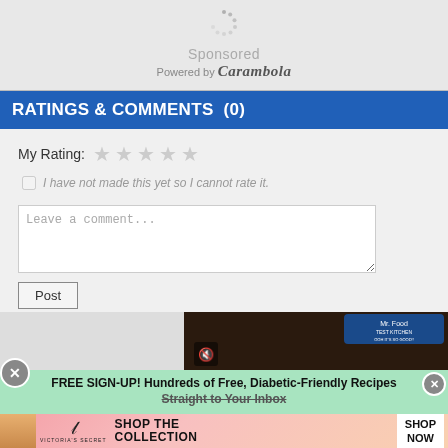[Figure (screenshot): Sponsored content block with spinner icon, 'Sponsored' text, and 'Powered by Carambola' text]
RATINGS & COMMENTS  (0)
[Figure (screenshot): Ratings and comments form with star rating, checkbox 'I have not made this yet so I cannot rate it.', comment textarea placeholder 'Leave a comment...', and Post button]
[Figure (screenshot): Mr. Food Test Kitchen video thumbnail with mute icon]
FREE SIGN-UP! Hundreds of Free, Diabetic-Friendly Recipes Straight to Your Inbox
[Figure (screenshot): Victoria's Secret advertisement: SHOP THE COLLECTION with SHOP NOW button]